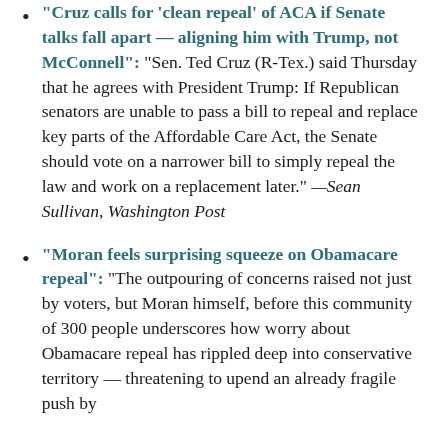"Cruz calls for 'clean repeal' of ACA if Senate talks fall apart — aligning him with Trump, not McConnell": "Sen. Ted Cruz (R-Tex.) said Thursday that he agrees with President Trump: If Republican senators are unable to pass a bill to repeal and replace key parts of the Affordable Care Act, the Senate should vote on a narrower bill to simply repeal the law and work on a replacement later." —Sean Sullivan, Washington Post
"Moran feels surprising squeeze on Obamacare repeal": "The outpouring of concerns raised not just by voters, but Moran himself, before this community of 300 people underscores how worry about Obamacare repeal has rippled deep into conservative territory — threatening to upend an already fragile push by